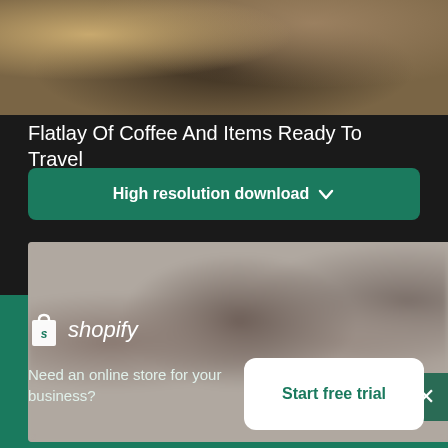[Figure (photo): Top portion of a flatlay photo showing coffee and travel items on dark background — partially cropped]
Flatlay Of Coffee And Items Ready To Travel
High resolution download ↓
[Figure (photo): Blurred/obscured photo of additional items, partially visible with close button]
[Figure (logo): Shopify logo — shopping bag icon with 's' and italic 'shopify' wordmark in white on green background]
Need an online store for your business?
Start free trial